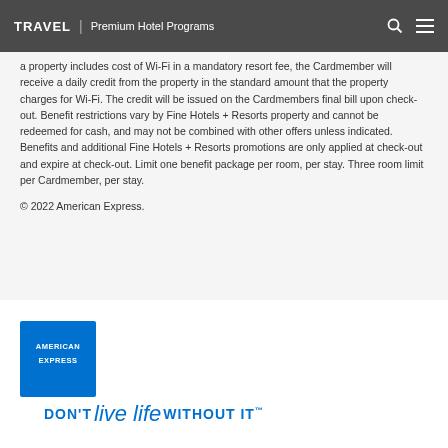TRAVEL | Premium Hotel Programs
a property includes cost of Wi-Fi in a mandatory resort fee, the Cardmember will receive a daily credit from the property in the standard amount that the property charges for Wi-Fi. The credit will be issued on the Cardmembers final bill upon check-out. Benefit restrictions vary by Fine Hotels + Resorts property and cannot be redeemed for cash, and may not be combined with other offers unless indicated. Benefits and additional Fine Hotels + Resorts promotions are only applied at check-out and expire at check-out. Limit one benefit package per room, per stay. Three room limit per Cardmember, per stay.
© 2022 American Express.
[Figure (logo): American Express logo — blue square with AMERICAN EXPRESS text in white, alongside the slogan DON'T live life WITHOUT IT™]